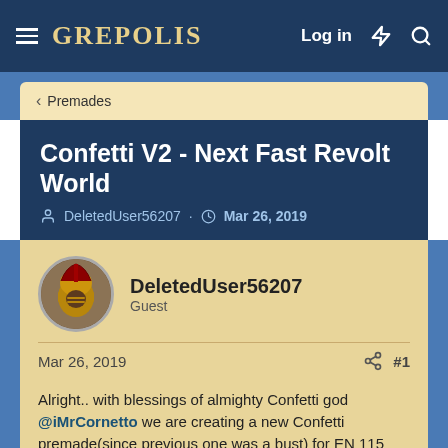GREPOLIS — Log in
< Premades
Confetti V2 - Next Fast Revolt World
DeletedUser56207 · Mar 26, 2019
DeletedUser56207
Guest
Mar 26, 2019  #1
Alright.. with blessings of almighty Confetti god @iMrCornetto we are creating a new Confetti premade(since previous one was a bust) for EN 115 "Side" with entirely different leadership and no chance of anyone changing this into what happened the last time.
At this time it is unclear if @iMrCornetto will be leading or playing at all so if this makes you not want to join, that is